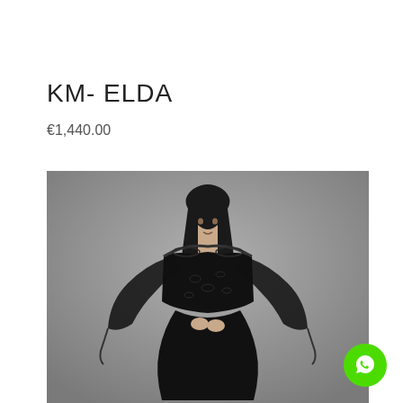KM- ELDA
€1,440.00
[Figure (photo): A female model wearing a black off-shoulder lace gown with long flowing sleeves, standing against a grey background.]